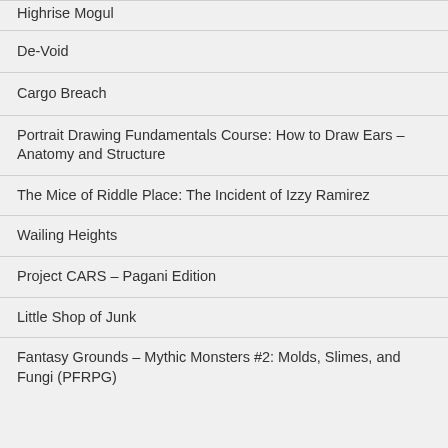Highrise Mogul
De-Void
Cargo Breach
Portrait Drawing Fundamentals Course: How to Draw Ears – Anatomy and Structure
The Mice of Riddle Place: The Incident of Izzy Ramirez
Wailing Heights
Project CARS – Pagani Edition
Little Shop of Junk
Fantasy Grounds – Mythic Monsters #2: Molds, Slimes, and Fungi (PFRPG)